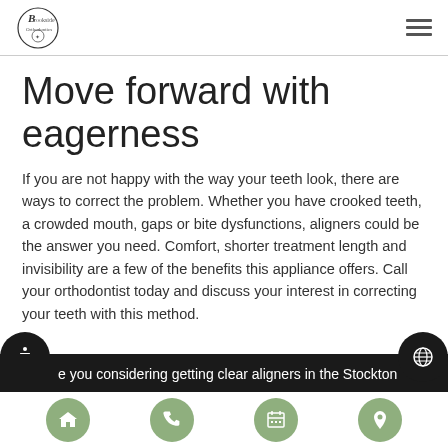Brookside Orthodontics logo and navigation menu
Move forward with eagerness
If you are not happy with the way your teeth look, there are ways to correct the problem. Whether you have crooked teeth, a crowded mouth, gaps or bite dysfunctions, aligners could be the answer you need. Comfort, shorter treatment length and invisibility are a few of the benefits this appliance offers. Call your orthodontist today and discuss your interest in correcting your teeth with this method.
e you considering getting clear aligners in the Stockton
Home, Phone, Calendar, Location icons